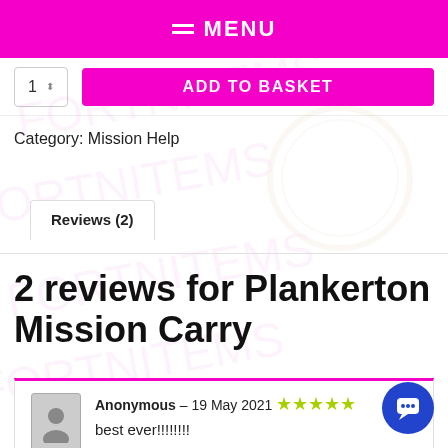MENU
1  ADD TO BASKET
Category: Mission Help
Reviews (2)
2 reviews for Plankerton Mission Carry
Anonymous – 19 May 2021 ★★★★★
best ever!!!!!!!!